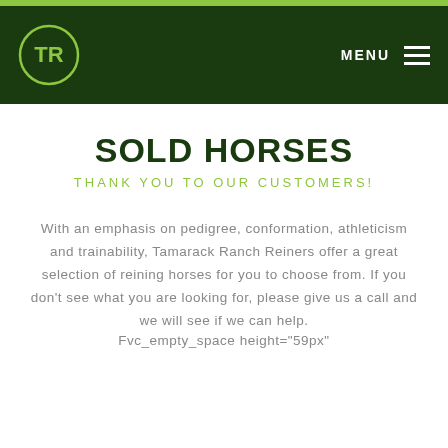[Figure (logo): Tamarack Ranch Reiners logo — circular green emblem with TR letters inside, on dark green navigation bar with MENU text and hamburger icon]
SOLD HORSES
THANK YOU TO OUR CUSTOMERS!
With an emphasis on pedigree, conformation, athleticism and trainability, Tamarack Ranch Reiners offer a great selection of reining horses for you to choose from. If you don't see what you are looking for, please give us a call and we will see if we can help.